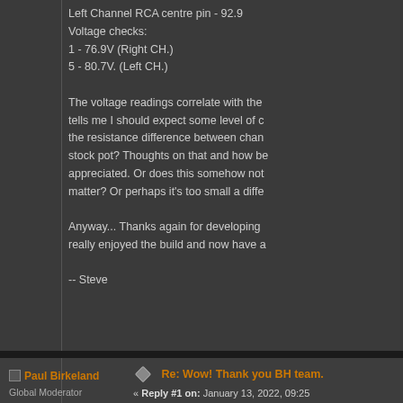Left Channel RCA centre pin - 92.9
Voltage checks:
1 - 76.9V (Right CH.)
5 - 80.7V. (Left CH.)

The voltage readings correlate with the tells me I should expect some level of c the resistance difference between chan stock pot? Thoughts on that and how be appreciated. Or does this somehow not matter? Or perhaps it's too small a diffe

Anyway... Thanks again for developing really enjoyed the build and now have a

-- Steve
Paul Birkeland
Global Moderator
Hero Member
Re: Wow! Thank you BH team.
« Reply #1 on: January 13, 2022, 09:25 AM »
Hello Steve